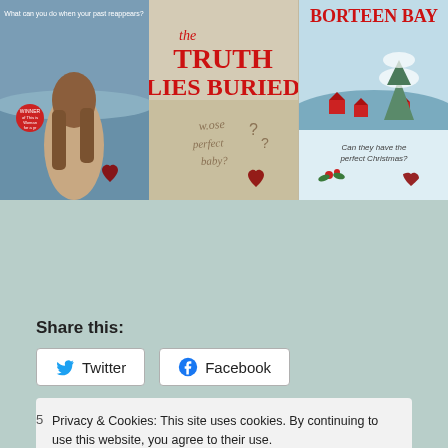[Figure (illustration): Three book covers side by side: left shows a woman with long brown hair looking at the sea; middle shows 'the TRUTH LIES BURIED' in red text with handwriting on sand and question marks; right shows 'BORTEEN BAY' in red text with winter village scene and snow-covered trees.]
Share this:
[Figure (screenshot): Twitter share button and Facebook share button side by side with icons.]
Privacy & Cookies: This site uses cookies. By continuing to use this website, you agree to their use.
To find out more, including how to control cookies, see here: Cookie Policy